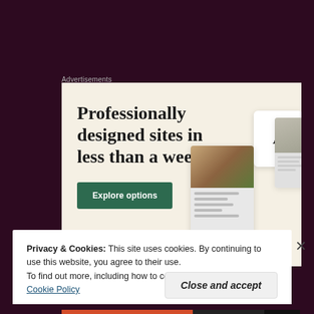Advertisements
[Figure (screenshot): Advertisement banner with cream/beige background showing headline 'Professionally designed sites in less than a week' with a green 'Explore options' button and website screenshot mockups on the right side]
Privacy & Cookies: This site uses cookies. By continuing to use this website, you agree to their use.
To find out more, including how to control cookies, see here: Cookie Policy
Close and accept